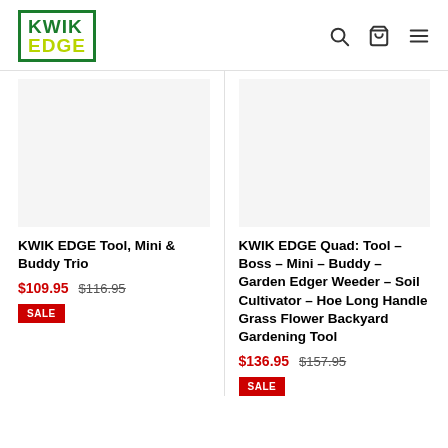[Figure (logo): KWIK EDGE logo in green bordered box]
[Figure (other): Navigation icons: search, cart, menu]
[Figure (photo): Product image placeholder for KWIK EDGE Tool Mini & Buddy Trio]
KWIK EDGE Tool, Mini & Buddy Trio
$109.95 $116.95
SALE
[Figure (photo): Product image placeholder for KWIK EDGE Quad tool set]
KWIK EDGE Quad: Tool – Boss – Mini – Buddy – Garden Edger Weeder – Soil Cultivator – Hoe Long Handle Grass Flower Backyard Gardening Tool
$136.95 $157.95
SALE